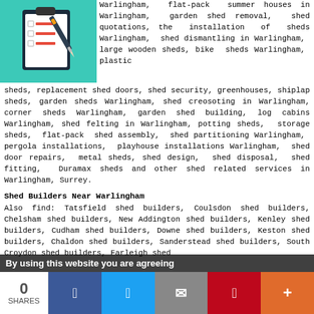[Figure (illustration): Clipboard with checklist and pen icon on teal background]
Warlingham, flat-pack summer houses in Warlingham, garden shed removal, shed quotations, the installation of sheds Warlingham, shed dismantling in Warlingham, large wooden sheds, bike sheds Warlingham, plastic sheds, replacement shed doors, shed security, greenhouses, shiplap sheds, garden sheds Warlingham, shed creosoting in Warlingham, corner sheds Warlingham, garden shed building, log cabins Warlingham, shed felting in Warlingham, potting sheds, storage sheds, flat-pack shed assembly, shed partitioning Warlingham, pergola installations, playhouse installations Warlingham, shed door repairs, metal sheds, shed design, shed disposal, shed fitting, Duramax sheds and other shed related services in Warlingham, Surrey.
Shed Builders Near Warlingham
Also find: Tatsfield shed builders, Coulsdon shed builders, Chelsham shed builders, New Addington shed builders, Kenley shed builders, Cudham shed builders, Downe shed builders, Keston shed builders, Chaldon shed builders, Sanderstead shed builders, South Croydon shed builders, Farleigh shed
By using this website you are agreeing
0
SHARES